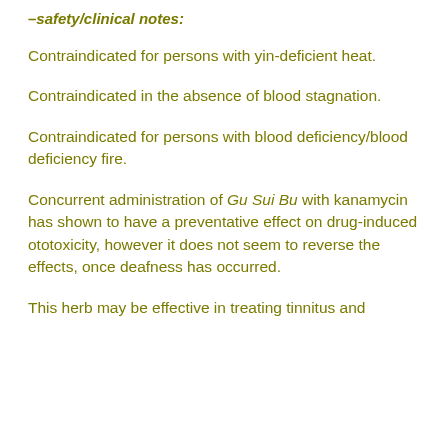–safety/clinical notes:
Contraindicated for persons with yin-deficient heat.
Contraindicated in the absence of blood stagnation.
Contraindicated for persons with blood deficiency/blood deficiency fire.
Concurrent administration of Gu Sui Bu with kanamycin has shown to have a preventative effect on drug-induced ototoxicity, however it does not seem to reverse the effects, once deafness has occurred.
This herb may be effective in treating tinnitus and